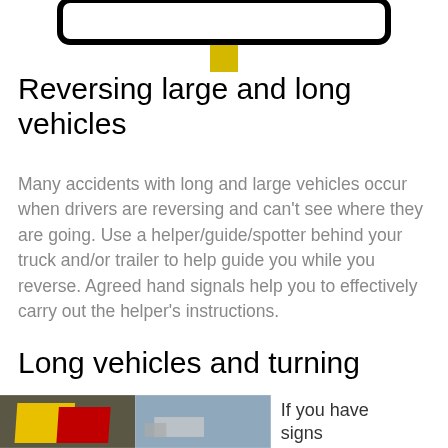[Figure (illustration): Top portion of a road/traffic sign with black rectangular frame and yellow post, cropped at top]
Reversing large and long vehicles
Many accidents with long and large vehicles occur when drivers are reversing and can't see where they are going. Use a helper/guide/spotter behind your truck and/or trailer to help guide you while you reverse. Agreed hand signals help you to effectively carry out the helper's instructions.
Long vehicles and turning
[Figure (photo): Two photos side by side showing vehicle signs (yellow and red marker boards on left photo, and a truck on road on right photo), with partial text 'If you have signs' visible to the right]